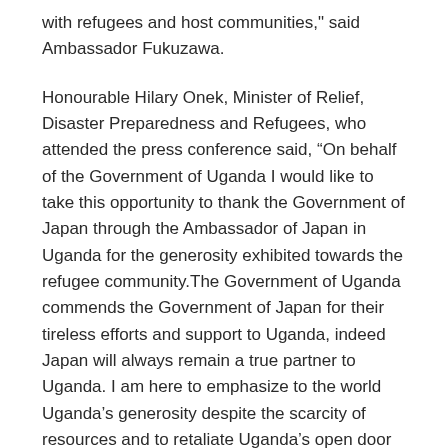with refugees and host communities," said Ambassador Fukuzawa.
Honourable Hilary Onek, Minister of Relief, Disaster Preparedness and Refugees, who attended the press conference said, “On behalf of the Government of Uganda I would like to take this opportunity to thank the Government of Japan through the Ambassador of Japan in Uganda for the generosity exhibited towards the refugee community.The Government of Uganda commends the Government of Japan for their tireless efforts and support to Uganda, indeed Japan will always remain a true partner to Uganda. I am here to emphasize to the world Uganda’s generosity despite the scarcity of resources and to retaliate Uganda’s open door policy. Uganda, as a country, holds a special